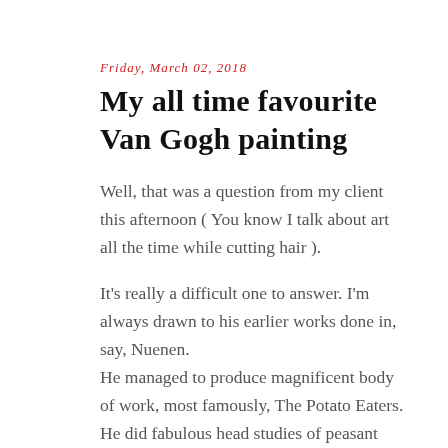Friday, March 02, 2018
My all time favourite Van Gogh painting
Well, that was a question from my client this afternoon ( You know I talk about art all the time while cutting hair ).
It's really a difficult one to answer. I'm always drawn to his earlier works done in, say, Nuenen.
He managed to produce magnificent body of work, most famously, The Potato Eaters. He did fabulous head studies of peasant women, still life and landscapes. With his distinctive use of earthy colours, Millet's influence is obvious.
His works in these early days as an artist are